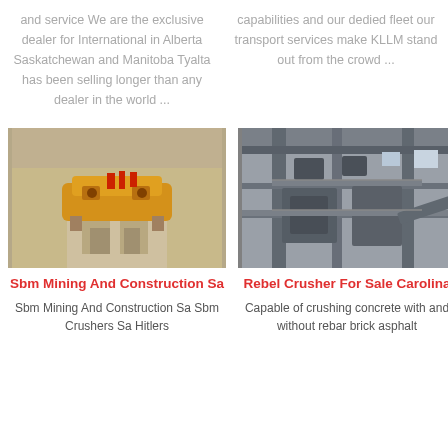and service We are the exclusive dealer for International in Alberta Saskatchewan and Manitoba Tyalta has been selling longer than any dealer in the world ...
capabilities and our dedied fleet our transport services make KLLM stand out from the crowd ...
[Figure (photo): Yellow mining/crushing machine on concrete base in sandy environment]
[Figure (photo): Large industrial crusher/processing plant interior with steel structure]
Sbm Mining And Construction Sa
Rebel Crusher For Sale Carolina
Sbm Mining And Construction Sa Sbm Crushers Sa Hitlers
Capable of crushing concrete with and without rebar brick asphalt